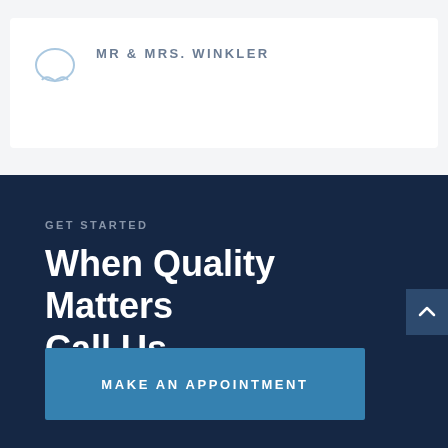MR & MRS. WINKLER
GET STARTED
When Quality Matters Call Us
MAKE AN APPOINTMENT